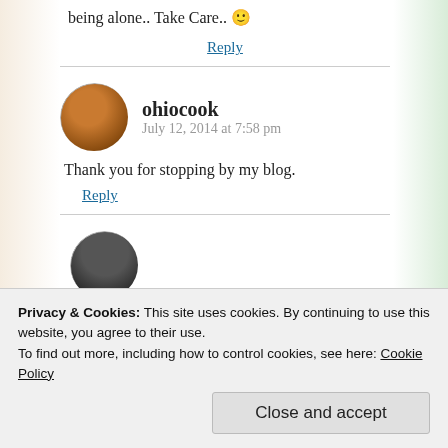being alone.. Take Care.. 🙂
Reply
ohiocook  July 12, 2014 at 7:58 pm
Thank you for stopping by my blog.
Reply
Privacy & Cookies: This site uses cookies. By continuing to use this website, you agree to their use. To find out more, including how to control cookies, see here: Cookie Policy
Close and accept